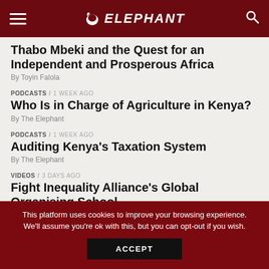ELEPHANT
Thabo Mbeki and the Quest for an Independent and Prosperous Africa
By Toyin Falola
PODCASTS / 1 week ago
Who Is in Charge of Agriculture in Kenya?
By The Elephant
PODCASTS / 1 week ago
Auditing Kenya's Taxation System
By The Elephant
VIDEOS / 3 days ago
Fight Inequality Alliance's Global Organising School
By The Elephant
This platform uses cookies to improve your browsing experience. We'll assume you're ok with this, but you can opt-out if you wish.
ACCEPT